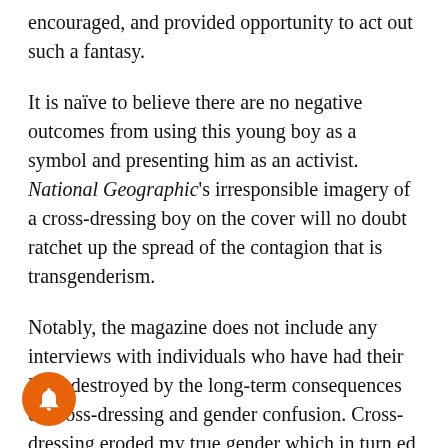encouraged, and provided opportunity to act out such a fantasy.
It is naïve to believe there are no negative outcomes from using this young boy as a symbol and presenting him as an activist. National Geographic's irresponsible imagery of a cross-dressing boy on the cover will no doubt ratchet up the spread of the contagion that is transgenderism.
Notably, the magazine does not include any interviews with individuals who have had their lives destroyed by the long-term consequences of cross-dressing and gender confusion. Cross-dressing eroded my true gender which in turn ed my teen years, ripped apart my marriage, ended my career.